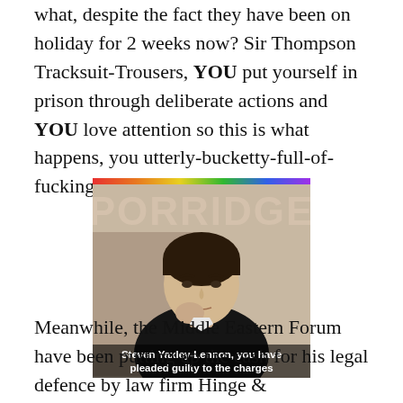what, despite the fact they have been on holiday for 2 weeks now? Sir Thompson Tracksuit-Trousers, YOU put yourself in prison through deliberate actions and YOU love attention so this is what happens, you utterly-bucketty-full-of-fuckington fuck!
[Figure (photo): Meme image styled as the TV show 'Porridge' with a man's photo and caption 'Steven Yaxley-Lennon, you have pleaded guilty to the charges']
Meanwhile, the Middle Eastern Forum have been putting up the cash for his legal defence by law firm Hinge &